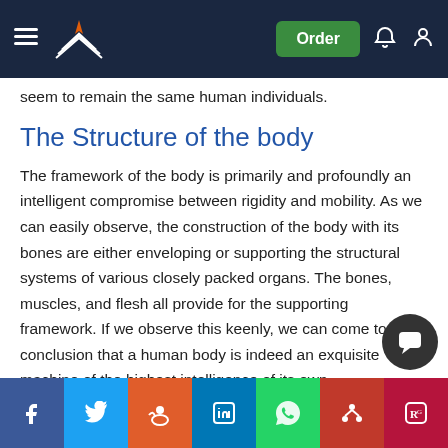Navigation bar with logo, Order button, notification and account icons
seem to remain the same human individuals.
The Structure of the body
The framework of the body is primarily and profoundly an intelligent compromise between rigidity and mobility. As we can easily observe, the construction of the body with its bones are either enveloping or supporting the structural systems of various closely packed organs. The bones, muscles, and flesh all provide for the supporting framework. If we observe this keenly, we can come to the conclusion that a human body is indeed an exquisite machine of the highest intelligence of its own.
The skeleton gives the upright strength to the body and in some places, such as the skull and thorax, acts as a protective ...ity and the muscles applies support and protection.